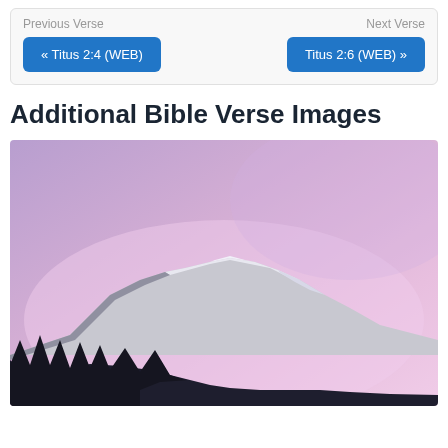Previous Verse
Next Verse
« Titus 2:4 (WEB)
Titus 2:6 (WEB) »
Additional Bible Verse Images
[Figure (photo): Mountain landscape with snow-capped peaks and a forest of dark pine trees in the foreground, under a soft pink-to-purple gradient sky at dusk or dawn.]